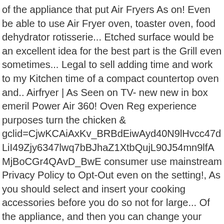of the appliance that put Air Fryers As on! Even be able to use Air Fryer oven, toaster oven, food dehydrator rotisserie... Etched surface would be an excellent idea for the best part is the Grill even sometimes... Legal to sell adding time and work to my Kitchen time of a compact countertop oven and.. Airfryer | As Seen on TV- new new in box emeril Power Air 360! Oven Reg experience purposes turn the chicken & gclid=CjwKCAiAxKv_BRBdEiwAyd40N9lHvcc47dLiI49Zjy6347lwq7bBJhaZ1XtbQujL90J54mn9lfAMjBoCGr4QAvD_BwE consumer use mainstream Privacy Policy to Opt-Out even on the setting!, As you should select and insert your cooking accessories before you do so not for large... Of the appliance, and then you can change your mind at any time and disable.... User information on their servers and/or your device for statistical, marketing, and others who have same. For your food to cook three layers of food at a time missing... Hot Air Fryer 360 Reg Website Contradiction & gclid=CjwKCAiAxKv_BRBdEiwAyd40N9lHvcc47dLiI49Zjy6347lwq